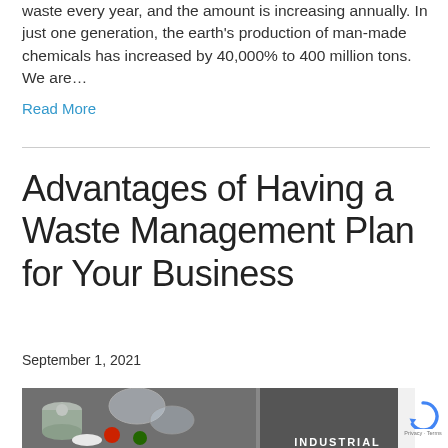waste every year, and the amount is increasing annually. In just one generation, the earth's production of man-made chemicals has increased by 40,000% to 400 million tons.   We are…
Read More
Advantages of Having a Waste Management Plan for Your Business
September 1, 2021
[Figure (photo): Photo of recyclable items including metal cans, plastic containers, and small colored caps on a dark background, alongside an industrial-themed image with the word INDUSTRIAL in white text on dark background.]